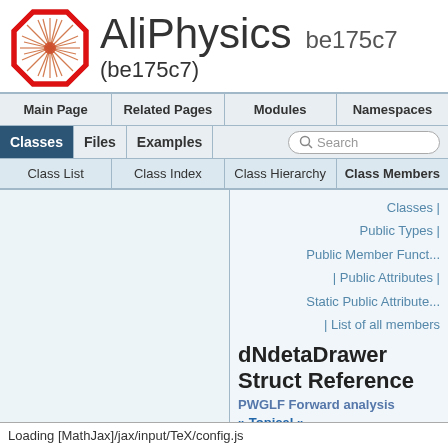AliPhysics be175c7 (be175c7)
Main Page | Related Pages | Modules | Namespaces
Classes | Files | Examples | Search
Class List | Class Index | Class Hierarchy | Class Members
Classes | Public Types | Public Member Funct... | Public Attributes | Static Public Attribute... | List of all members
dNdetaDrawer Struct Reference
PWGLF Forward analysis
» Topical »
Loading [MathJax]/jax/input/TeX/config.js